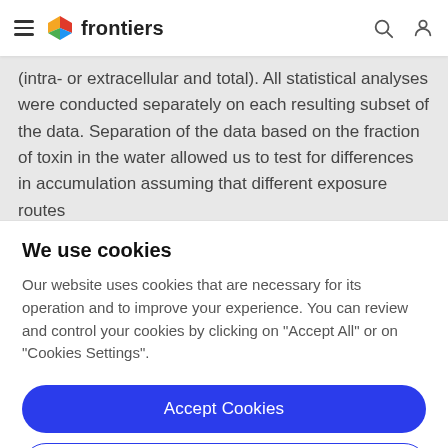frontiers
(intra- or extracellular and total). All statistical analyses were conducted separately on each resulting subset of the data. Separation of the data based on the fraction of toxin in the water allowed us to test for differences in accumulation assuming that different exposure routes
We use cookies
Our website uses cookies that are necessary for its operation and to improve your experience. You can review and control your cookies by clicking on "Accept All" or on "Cookies Settings".
Accept Cookies
Cookies Settings